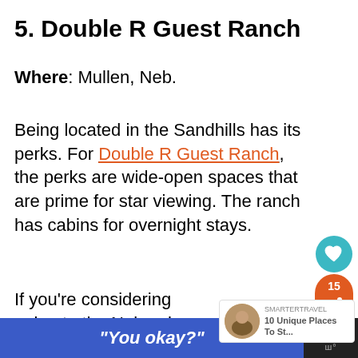5. Double R Guest Ranch
Where: Mullen, Neb.
Being located in the Sandhills has its perks. For Double R Guest Ranch, the perks are wide-open spaces that are prime for star viewing. The ranch has cabins for overnight stays.
If you're considering going to the Nebraska Star Party, this ranch is about 20 miles from Merritt Reservoir.
[Figure (infographic): Social share widget: teal heart button and orange pill with share count 15 and share icon]
[Figure (infographic): Promotional widget thumbnail: circular photo with text '10 Unique Places To St...']
"You okay?"
[Figure (infographic): Close button with X and dots icon on dark background]